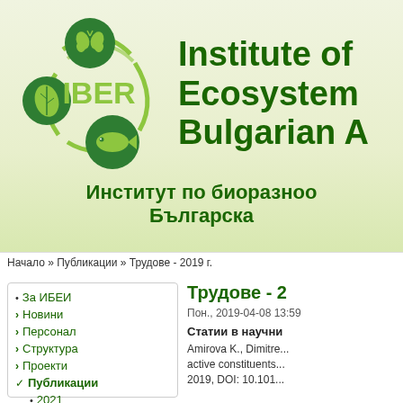[Figure (logo): IBER logo with circular arrangement of icons (butterfly, leaf, fish, DNA) in green, with text IBER in bright green]
Institute of Biodiversity and Ecosystem Research, Bulgarian Academy of Sciences
Институт по биоразнообразие и екосистемни изследвания, Българска академия на науките
Начало » Публикации » Трудове - 2019 г.
За ИБЕИ
Новини
Персонал
Структура
Проекти
Публикации
2021
Трудове - 2
Пон., 2019-04-08 13:59
Статии в научни
Amirova K., Dimitre... active constituents... 2019, DOI: 10.101...